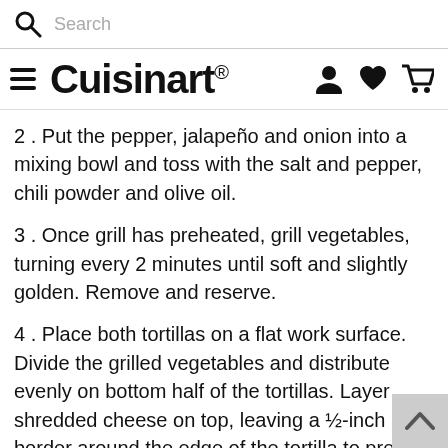Search
[Figure (logo): Cuisinart logo with hamburger menu icon and navigation icons (person, heart, cart)]
2 . Put the pepper, jalapeño and onion into a mixing bowl and toss with the salt and pepper, chili powder and olive oil.
3 . Once grill has preheated, grill vegetables, turning every 2 minutes until soft and slightly golden. Remove and reserve.
4 . Place both tortillas on a flat work surface. Divide the grilled vegetables and distribute evenly on bottom half of the tortillas. Layer shredded cheese on top, leaving a ½-inch border around the edge of the tortilla to prevent any cheese from melting out. Fold empty portion of tortilla over the filling.